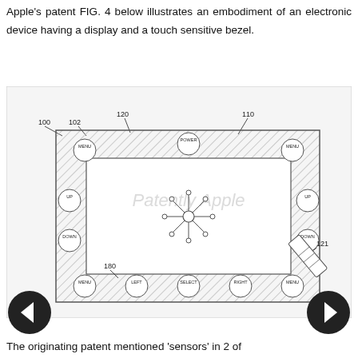Apple's patent FIG. 4 below illustrates an embodiment of an electronic device having a display and a touch sensitive bezel.
[Figure (engineering-diagram): Patent FIG. 4 showing an electronic device (100) with a touch-sensitive bezel (102) containing labeled circular buttons: MENU, POWER, UP, DOWN, LEFT, SELECT, RIGHT on the bezel (120), with inner display area (110), connector element (121), and a star/snowflake symbol in the center. The device has hatched bezel borders. Watermark text reads 'Patently Apple'.]
The originating patent mentioned 'sensors' in 2 of